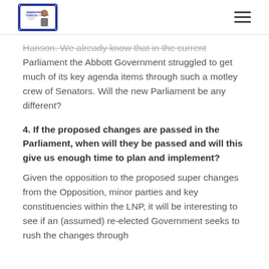Independent Financial Centre logo and navigation
Hanson. We already know that in the current Parliament the Abbott Government struggled to get much of its key agenda items through such a motley crew of Senators. Will the new Parliament be any different?
4. If the proposed changes are passed in the Parliament, when will they be passed and will this give us enough time to plan and implement?
Given the opposition to the proposed super changes from the Opposition, minor parties and key constituencies within the LNP, it will be interesting to see if an (assumed) re-elected Government seeks to rush the changes through